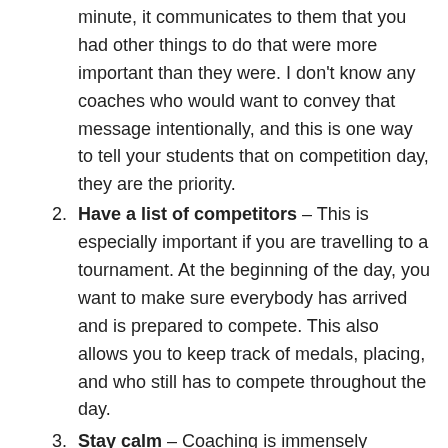minute, it communicates to them that you had other things to do that were more important than they were. I don't know any coaches who would want to convey that message intentionally, and this is one way to tell your students that on competition day, they are the priority.
Have a list of competitors – This is especially important if you are travelling to a tournament. At the beginning of the day, you want to make sure everybody has arrived and is prepared to compete. This also allows you to keep track of medals, placing, and who still has to compete throughout the day.
Stay calm – Coaching is immensely frustrating. Remember to stay calm and positive when working with your students. You may have competed in hundreds of matches in your career, but your student